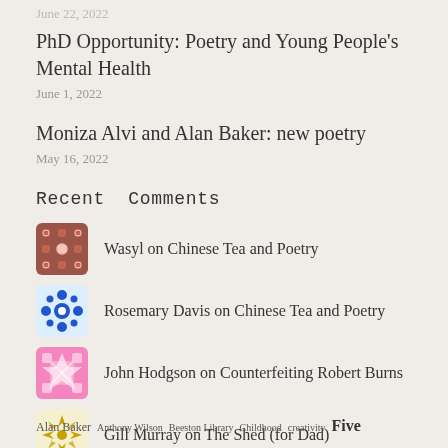June 22, 2022
PhD Opportunity: Poetry and Young People's Mental Health
June 1, 2022
Moniza Alvi and Alan Baker: new poetry
May 16, 2022
Recent Comments
Wasyl on Chinese Tea and Poetry
Rosemary Davis on Chinese Tea and Poetry
John Hodgson on Counterfeiting Robert Burns
Gill Murray on The Shed (for Dad)
Alan Baker Anthony Wilson Beeston Library Childhood creativity Five